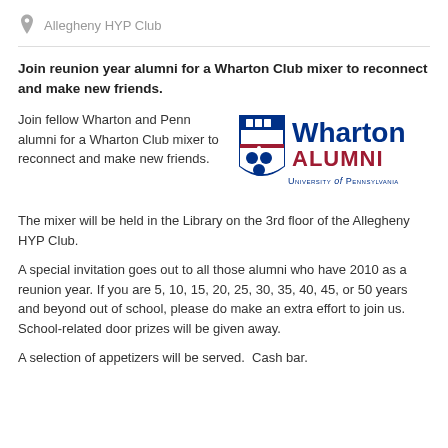Allegheny HYP Club
Join reunion year alumni for a Wharton Club mixer to reconnect and make new friends.
Join fellow Wharton and Penn alumni for a Wharton Club mixer to reconnect and make new friends.
[Figure (logo): Wharton Alumni University of Pennsylvania logo with shield]
The mixer will be held in the Library on the 3rd floor of the Allegheny HYP Club.
A special invitation goes out to all those alumni who have 2010 as a reunion year. If you are 5, 10, 15, 20, 25, 30, 35, 40, 45, or 50 years and beyond out of school, please do make an extra effort to join us. School-related door prizes will be given away.
A selection of appetizers will be served.  Cash bar.